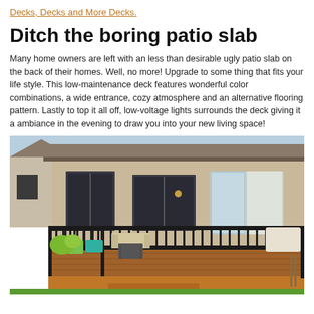Decks, Decks and More Decks.
Ditch the boring patio slab
Many home owners are left with an less than desirable ugly patio slab on the back of their homes. Well, no more! Upgrade to some thing that fits your life style. This low-maintenance deck features wonderful color combinations, a wide entrance, cozy atmosphere and an alternative flooring pattern. Lastly to top it all off, low-voltage lights surrounds the deck giving it a ambiance in the evening to draw you into your new living space!
[Figure (photo): Photo of a two-story suburban house with a wooden deck featuring black metal railings, outdoor seating furniture, and a large sliding glass door. The deck is built with warm brown composite decking boards.]